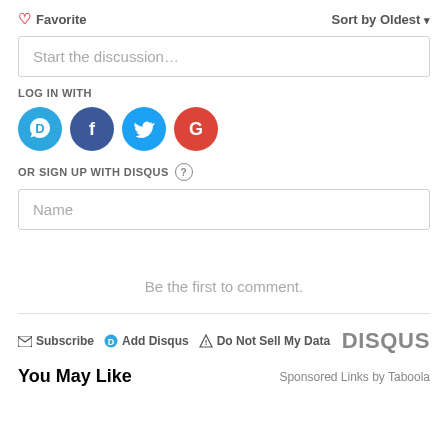♡ Favorite
Sort by Oldest ▾
Start the discussion…
LOG IN WITH
[Figure (logo): Social login icons: Disqus (blue), Facebook (dark blue), Twitter (light blue), Google (red)]
OR SIGN UP WITH DISQUS ?
Name
Be the first to comment.
Subscribe  Add Disqus  Do Not Sell My Data  DISQUS
You May Like
Sponsored Links by Taboola